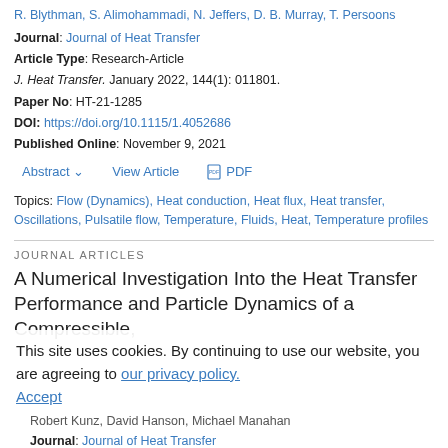R. Blythman, S. Alimohammadi, N. Jeffers, D. B. Murray, T. Persoons
Journal: Journal of Heat Transfer
Article Type: Research-Article
J. Heat Transfer. January 2022, 144(1): 011801.
Paper No: HT-21-1285
DOI: https://doi.org/10.1115/1.4052686
Published Online: November 9, 2021
Abstract  View Article  PDF
Topics: Flow (Dynamics), Heat conduction, Heat flux, Heat transfer, Oscillations, Pulsatile flow, Temperature, Fluids, Heat, Temperature profiles
JOURNAL ARTICLES
A Numerical Investigation Into the Heat Transfer Performance and Particle Dynamics of a Compressible,
This site uses cookies. By continuing to use our website, you are agreeing to our privacy policy. Accept
Robert Kunz, David Hanson, Michael Manahan
Journal: Journal of Heat Transfer